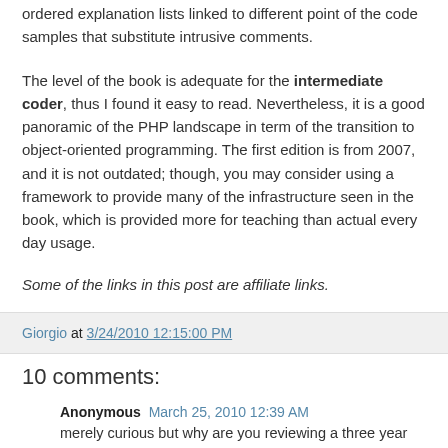ordered explanation lists linked to different point of the code samples that substitute intrusive comments.
The level of the book is adequate for the intermediate coder, thus I found it easy to read. Nevertheless, it is a good panoramic of the PHP landscape in term of the transition to object-oriented programming. The first edition is from 2007, and it is not outdated; though, you may consider using a framework to provide many of the infrastructure seen in the book, which is provided more for teaching than actual every day usage.
Some of the links in this post are affiliate links.
Giorgio at 3/24/2010 12:15:00 PM
10 comments:
Anonymous March 25, 2010 12:39 AM
merely curious but why are you reviewing a three year old